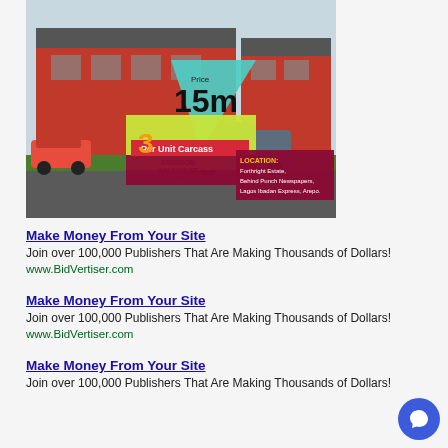[Figure (photo): Real estate advertisement showing a red and grey apartment building with vehicles parked outside. Overlay text reads: Price 15m Per Unit Carcass, 3 Bedroom Apartment In A Block. Location: Forthright Estate, Behind Punch Newspapers, Lagos Ibadan Express, Arepo.]
Make Money From Your Site
Join over 100,000 Publishers That Are Making Thousands of Dollars!
www.BidVertiser.com
Make Money From Your Site
Join over 100,000 Publishers That Are Making Thousands of Dollars!
www.BidVertiser.com
Make Money From Your Site
Join over 100,000 Publishers That Are Making Thousands of Dollars!